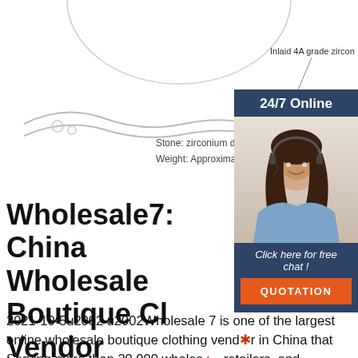[Figure (photo): Silver necklace with double chain and zircon stones, product photo with annotation arrow pointing to 'Inlaid 4A grade zircon']
Inlaid 4A grade zircon
Stone: zirconium drill with
Weight: Approximately 2.1
[Figure (photo): Customer support sidebar with '24/7 Online' heading, photo of woman with headset, 'Click here for free chat!' text, and orange QUOTATION button]
Wholesale7: China Wholesale Boutique Cl... Vendor
2021-10-5u2002·u2002Wholesale 7 is one of the largest online wholesale boutique clothing vendor in China that Serving more than 20,000 wholesale retailers, and distributors. Since 2013, we supply a wide range of inexpensive and high-quality